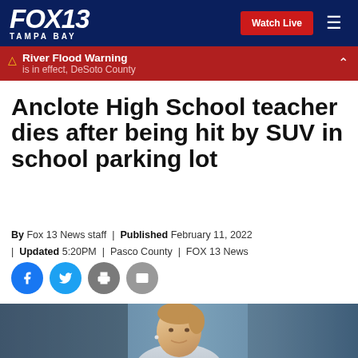FOX 13 TAMPA BAY
River Flood Warning is in effect, DeSoto County
Anclote High School teacher dies after being hit by SUV in school parking lot
By Fox 13 News staff | Published February 11, 2022 | Updated 5:20PM | Pasco County | FOX 13 News
[Figure (photo): Headshot photo of the teacher mentioned in the article, against a blue background]
[Figure (photo): Social media share icons: Facebook, Twitter, Print, Email]